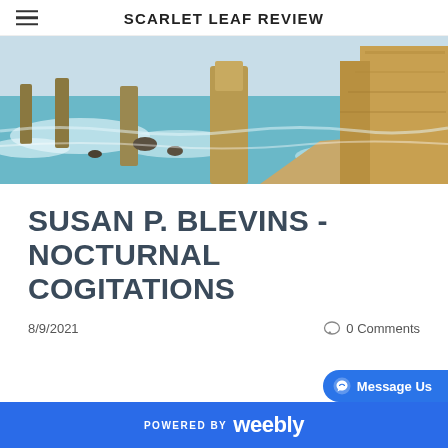SCARLET LEAF REVIEW
[Figure (photo): Coastal landscape with limestone rock stacks rising from turquoise ocean waves, sandy beach, and sandy cliff face on the right — appears to be the Twelve Apostles, Great Ocean Road, Australia]
SUSAN P. BLEVINS - NOCTURNAL COGITATIONS
8/9/2021
0 Comments
POWERED BY weebly